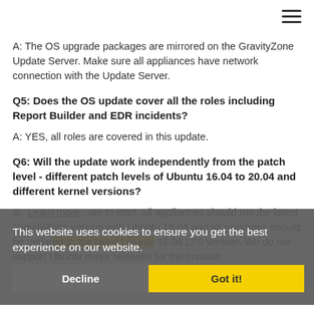A: The OS upgrade packages are mirrored on the GravityZone Update Server. Make sure all appliances have network connection with the Update Server.
Q5: Does the OS update cover all the roles including Report Builder and EDR incidents?
A: YES, all roles are covered in this update.
Q6: Will the update work independently from the patch level - different patch levels of Ubuntu 16.04 to 20.04 and different kernel versions?
A: Learn more...ate to start, all appliances should run the latest GravityZone version with Ubuntu 16.04 and all packages should be updated to the latest Ubuntu 16.04 LTS version. We do not support Ubuntu minor releases for the console.
This website uses cookies to ensure you get the best experience on our website.
Decline   Got it!